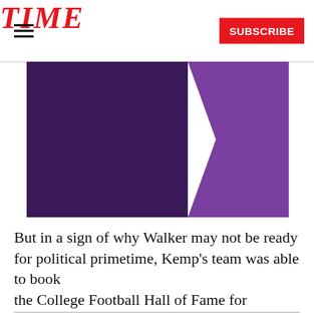TIME  SUBSCRIBE
[Figure (photo): Dark purple and medium purple rectangular image area, partially cropped]
But in a sign of why Walker may not be ready for political primetime, Kemp's team was able to book the College Football Hall of Fame for Tuesday night
READ NEXT
[Figure (photo): Thumbnail image of a person at a podium with flags in the background, dark background]
Georgia's Race for Governor Shows the Limits of Trump's Power